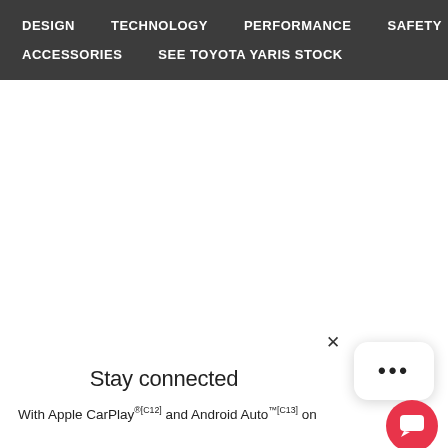DESIGN   TECHNOLOGY   PERFORMANCE   SAFETY   ACCESSORIES   SEE TOYOTA YARIS STOCK
Stay connected
With Apple CarPlay®[C12] and Android Auto™[C13] on